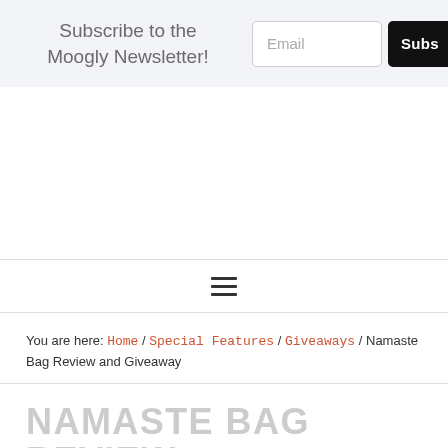Subscribe to the Moogly Newsletter!
[Figure (screenshot): Email input field and Subscribe button]
[Figure (other): Hamburger menu icon (three horizontal lines)]
You are here: Home / Special Features / Giveaways / Namaste Bag Review and Giveaway
NAMASTE BAG REVIEW